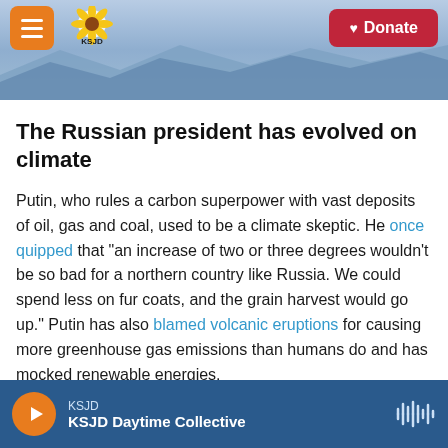[Figure (screenshot): KSJD radio website header with mountain background, orange hamburger menu button on left, KSJD sunflower logo, and red Donate button on right]
The Russian president has evolved on climate
Putin, who rules a carbon superpower with vast deposits of oil, gas and coal, used to be a climate skeptic. He once quipped that "an increase of two or three degrees wouldn't be so bad for a northern country like Russia. We could spend less on fur coats, and the grain harvest would go up." Putin has also blamed volcanic eruptions for causing more greenhouse gas emissions than humans do and has mocked renewable energies.
KSJD — KSJD Daytime Collective